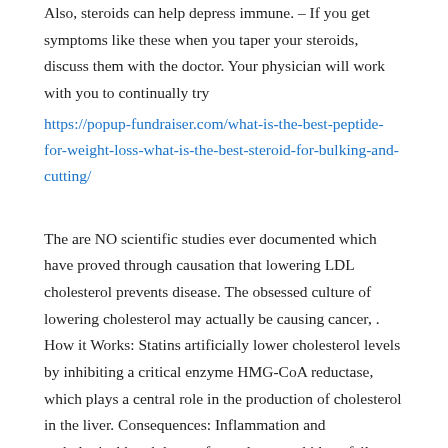Also, steroids can help depress immune. – If you get symptoms like these when you taper your steroids, discuss them with the doctor. Your physician will work with you to continually try
https://popup-fundraiser.com/what-is-the-best-peptide-for-weight-loss-what-is-the-best-steroid-for-bulking-and-cutting/
The are NO scientific studies ever documented which have proved through causation that lowering LDL cholesterol prevents disease. The obsessed culture of lowering cholesterol may actually be causing cancer, . How it Works: Statins artificially lower cholesterol levels by inhibiting a critical enzyme HMG-CoA reductase, which plays a central role in the production of cholesterol in the liver. Consequences: Inflammation and pathological breakdown of muscle, acute kidney failure, diabetes, cancer, cardiovascular disease, interference with sex hormones and death.
Prednisone lose weight while, best